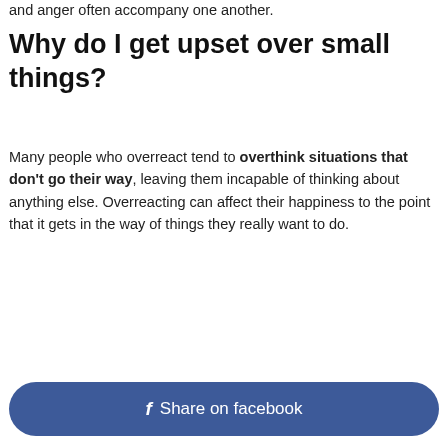and anger often accompany one another.
Why do I get upset over small things?
Many people who overreact tend to overthink situations that don't go their way, leaving them incapable of thinking about anything else. Overreacting can affect their happiness to the point that it gets in the way of things they really want to do.
Share on facebook